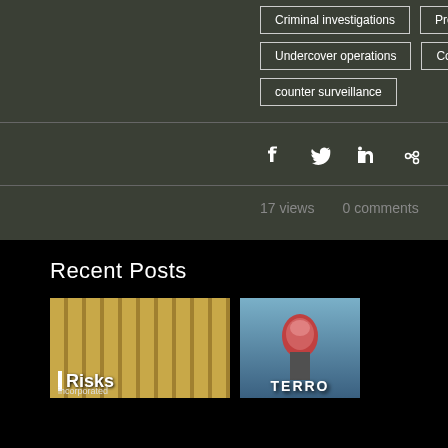Criminal investigations
Pretext operations
Undercover operations
Counter corporate espionage
counter surveillance
17 views   0 comments
Recent Posts
[Figure (photo): Photo of bundled cash/money stacks with 'Risks Incorporated' text overlay]
[Figure (photo): Photo of a ninja/costumed figure with 'TERRO...' text overlay, partially visible]